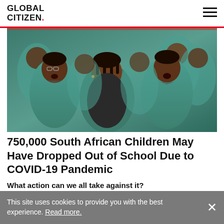GLOBAL CITIZEN.
[Figure (photo): Group of South African school children in teal/turquoise uniforms, appearing to be singing or speaking animatedly in a classroom setting.]
750,000 South African Children May Have Dropped Out of School Due to COVID-19 Pandemic
What action can we all take against it?
Global Citizens can join the movement to end
This site uses cookies to provide you with the best experience. Read more.